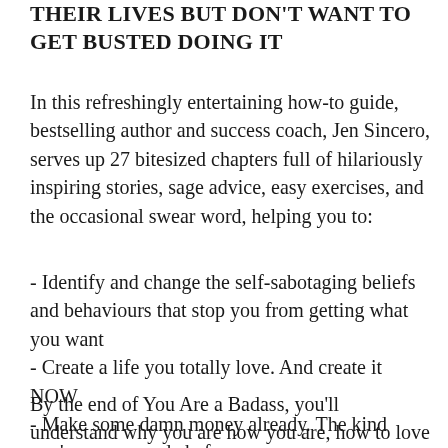THEIR LIVES BUT DON'T WANT TO GET BUSTED DOING IT
In this refreshingly entertaining how-to guide, bestselling author and success coach, Jen Sincero, serves up 27 bitesized chapters full of hilariously inspiring stories, sage advice, easy exercises, and the occasional swear word, helping you to:
- Identify and change the self-sabotaging beliefs and behaviours that stop you from getting what you want
- Create a life you totally love. And create it NOW
- Make some damn money already. The kind you've never made before.
By the end of You Are a Badass, you'll understand why you are how you are, how to love what you can't change, how to change what you don't love, and how